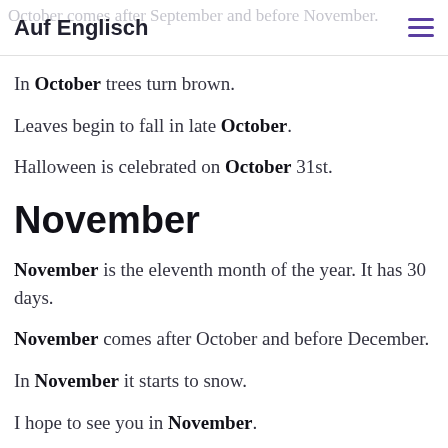Auf Englisch
In October trees turn brown.
Leaves begin to fall in late October.
Halloween is celebrated on October 31st.
November
November is the eleventh month of the year. It has 30 days.
November comes after October and before December.
In November it starts to snow.
I hope to see you in November.
My birthday is in November.
December